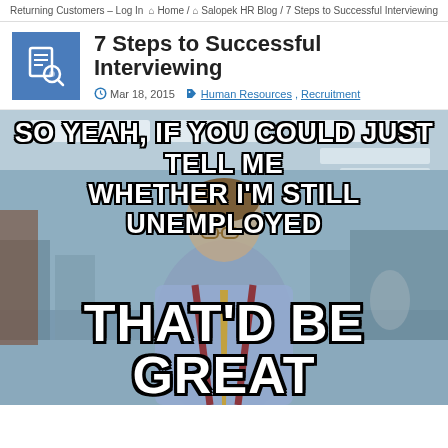Returning Customers – Log In   Home / Salopek HR Blog / 7 Steps to Successful Interviewing
7 Steps to Successful Interviewing
Mar 18, 2015   Human Resources, Recruitment
[Figure (photo): Office Space movie meme showing a man in a blue shirt with suspenders and tie in an office setting. Top text reads: 'SO YEAH, IF YOU COULD JUST TELL ME WHETHER I'M STILL UNEMPLOYED'. Bottom text reads: 'THAT'D BE GREAT']